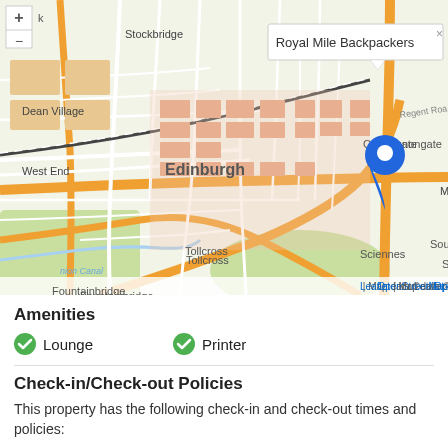[Figure (map): OpenStreetMap of Edinburgh city centre showing Royal Mile Backpackers location with a blue pin marker and popup label. Map shows areas including Stockbridge, Dean Village, West End, Tollcross, Fountainbridge, Edinburgh city centre, Canongate, Meadowbank, Holyrood Park with Salisbury Crags, Haggis Knowe, Dunsapie Crag 146m, The Nether Hill 237m, Sciennes, Bruntsfield. Footer shows Leaflet | Map data © OpenStreetMap.]
Amenities
Lounge
Printer
Check-in/Check-out Policies
This property has the following check-in and check-out times and policies:
Check-In: 3:00 PM